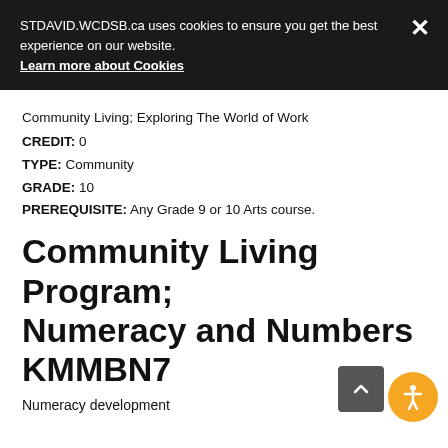STDAVID.WCDSB.ca uses cookies to ensure you get the best experience on our website. Learn more about Cookies
Community Living; Exploring The World of Work
CREDIT: 0
TYPE: Community
GRADE: 10
PREREQUISITE: Any Grade 9 or 10 Arts course.
Community Living Program; Numeracy and Numbers KMMBN7
Numeracy development